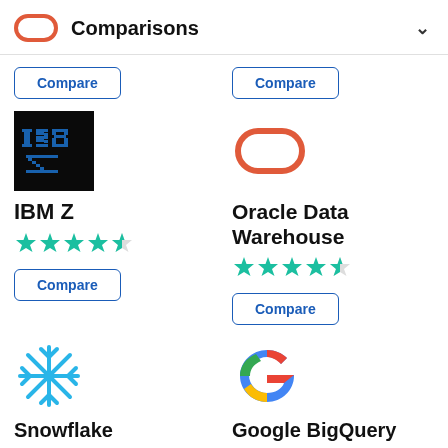Comparisons
[Figure (logo): IBM Z logo - dark background with blue IBM letters]
IBM Z
[Figure (other): 4.5 star rating (teal stars)]
Compare
[Figure (logo): Oracle logo - coral/red pill/stadium shape outline]
Oracle Data Warehouse
[Figure (other): 4.5 star rating (teal stars)]
Compare
[Figure (logo): Snowflake logo - light blue snowflake icon]
Snowflake
[Figure (logo): Google BigQuery logo - Google G multicolor icon]
Google BigQuery